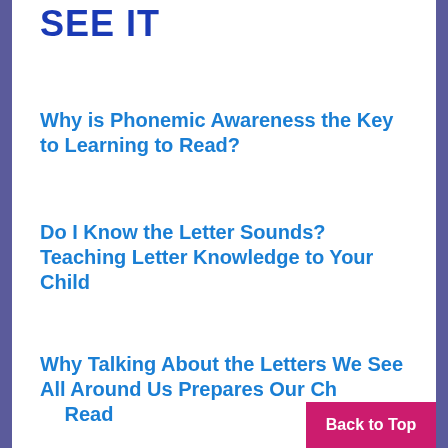SEE IT
Why is Phonemic Awareness the Key to Learning to Read?
Do I Know the Letter Sounds? Teaching Letter Knowledge to Your Child
Why Talking About the Letters We See All Around Us Prepares Our Children to Read
Back to Top